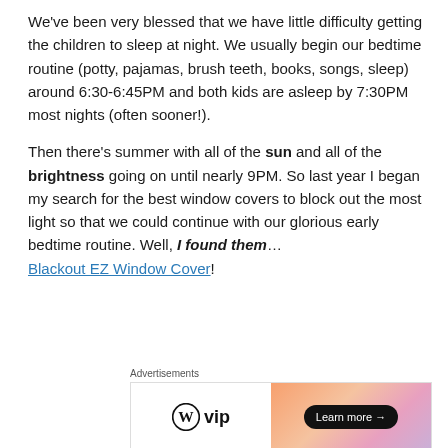We've been very blessed that we have little difficulty getting the children to sleep at night. We usually begin our bedtime routine (potty, pajamas, brush teeth, books, songs, sleep) around 6:30-6:45PM and both kids are asleep by 7:30PM most nights (often sooner!).
Then there's summer with all of the sun and all of the brightness going on until nearly 9PM. So last year I began my search for the best window covers to block out the most light so that we could continue with our glorious early bedtime routine. Well, I found them… Blackout EZ Window Cover!
[Figure (other): WordPress VIP advertisement banner with gradient background and Learn more button]